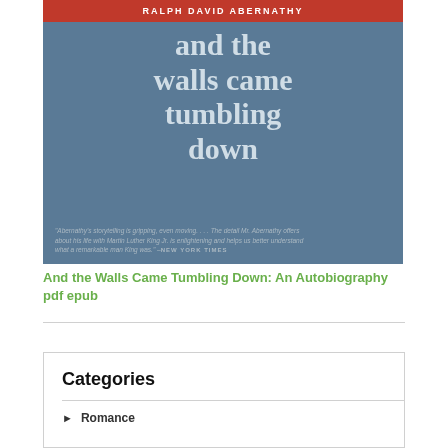[Figure (illustration): Book cover for 'And the Walls Came Tumbling Down' by Ralph David Abernathy. Red bar at top with author name in white. Blue-gray background with large white serif title text. Quote at bottom from New York Times in italic.]
And the Walls Came Tumbling Down: An Autobiography pdf epub
Categories
Romance